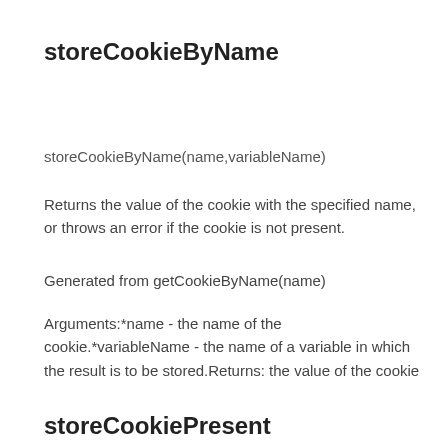storeCookieByName
storeCookieByName(name,variableName)
Returns the value of the cookie with the specified name, or throws an error if the cookie is not present.
Generated from getCookieByName(name)
Arguments:*name - the name of the cookie.*variableName - the name of a variable in which the result is to be stored.Returns: the value of the cookie
storeCookiePresent